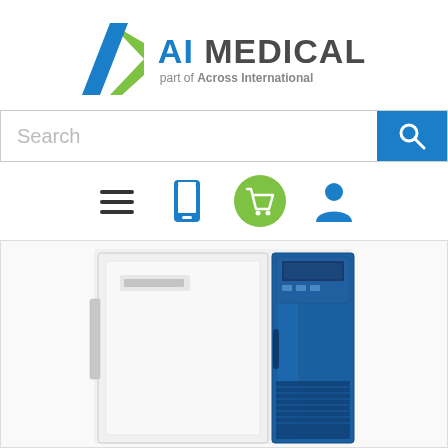[Figure (logo): AI Medical logo — part of Across International, with blue and green chevron/slash mark]
[Figure (screenshot): Search bar with 'Search' placeholder text and blue search button with magnifying glass icon]
[Figure (infographic): Navigation icons: hamburger menu, mobile phone, green shopping cart, user/account icon]
[Figure (photo): Product photo of a laboratory ultra-low temperature freezer — white body with blue door panel and control display, brand appears to be Haier or similar]